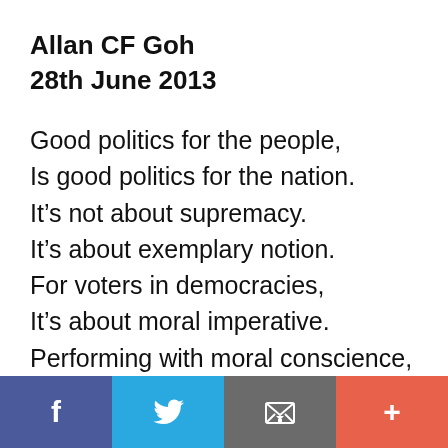Allan CF Goh
28th June 2013
Good politics for the people,
Is good politics for the nation.
It’s not about supremacy.
It’s about exemplary notion.
For voters in democracies,
It’s about moral imperative.
Performing with moral conscience,